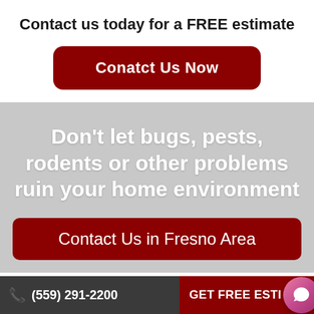Contact us today for a FREE estimate
Conatct Us Now
Don't let bugs, pests, rodents or other problems ruin your home environment
Contact Us in Fresno Area
(559) 291-2200
GET FREE ESTI…